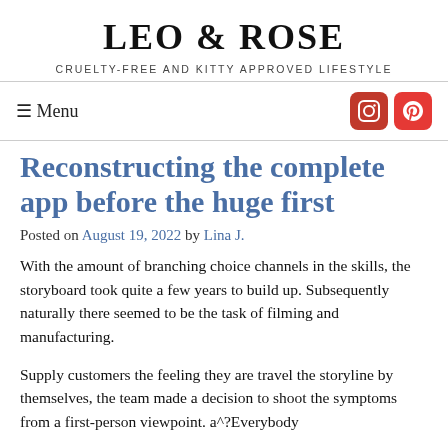LEO & ROSE
CRUELTY-FREE AND KITTY APPROVED LIFESTYLE
≡ Menu
Reconstructing the complete app before the huge first
Posted on August 19, 2022 by Lina J.
With the amount of branching choice channels in the skills, the storyboard took quite a few years to build up. Subsequently naturally there seemed to be the task of filming and manufacturing.
Supply customers the feeling they are travel the storyline by themselves, the team made a decision to shoot the symptoms from a first-person viewpoint. a^?Everybody